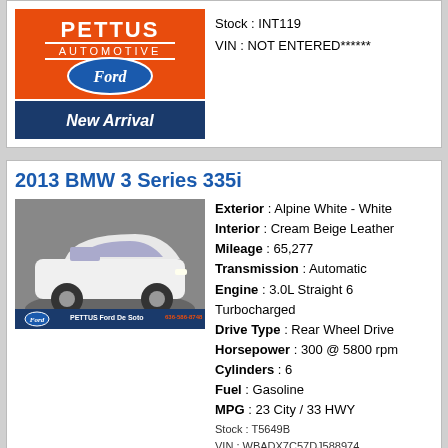[Figure (logo): Pettus Automotive Ford dealership logo with New Arrival text on orange/navy background]
Stock : INT119
VIN : NOT ENTERED******
2013 BMW 3 Series 335i
[Figure (photo): White 2013 BMW 3 Series 335i on a display turntable]
Exterior : Alpine White - White
Interior : Cream Beige Leather
Mileage : 65,277
Transmission : Automatic
Engine : 3.0L Straight 6 Turbocharged
Drive Type : Rear Wheel Drive
Horsepower : 300 @ 5800 rpm
Cylinders : 6
Fuel : Gasoline
MPG : 23 City / 33 HWY
Stock : T5649B
VIN : WBADX7C57DJ588974
2017 Buick Enclave Convenience
[Figure (photo): 2017 Buick Enclave Convenience partial view]
Exterior : Quicksilver Metallic - Gray
Interior : Light Titanium Cloth
Mileage : 73,050